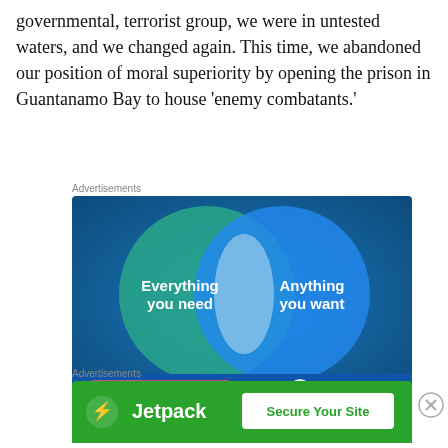governmental, terrorist group, we were in untested waters, and we changed again. This time, we abandoned our position of moral superiority by opening the prison in Guantanamo Bay to house ‘enemy combatants.’
Advertisements
[Figure (infographic): WordPress.com advertisement showing a Venn diagram on a blue-green gradient background. Left circle (teal/green): 'Everything you need'. Right circle (blue): 'Anything you want'. Overlapping region is lighter. Bottom bar shows pink 'Build Your Website' button and WordPress.com logo.]
Advertisements
[Figure (infographic): Jetpack advertisement on green background. Left side shows Jetpack logo (lightning bolt in circle) and 'Jetpack' text in white. Right side shows white button with green text 'Secure Your Site'.]